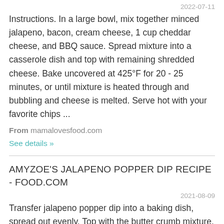2022-07-11
Instructions. In a large bowl, mix together minced jalapeno, bacon, cream cheese, 1 cup cheddar cheese, and BBQ sauce. Spread mixture into a casserole dish and top with remaining shredded cheese. Bake uncovered at 425°F for 20 - 25 minutes, or until mixture is heated through and bubbling and cheese is melted. Serve hot with your favorite chips ...
From mamalovesfood.com
See details »
AMYZOE'S JALAPENO POPPER DIP RECIPE - FOOD.COM
2021-08-09
Transfer jalapeno popper dip into a baking dish, spread out evenly. Top with the butter crumb mixture. Bake for 30 minutes and serve warm with